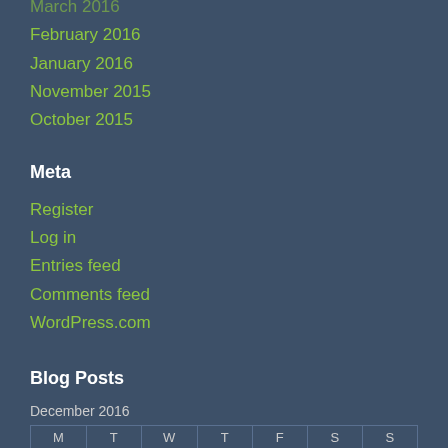March 2016
February 2016
January 2016
November 2015
October 2015
Meta
Register
Log in
Entries feed
Comments feed
WordPress.com
Blog Posts
December 2016
| M | T | W | T | F | S | S |
| --- | --- | --- | --- | --- | --- | --- |